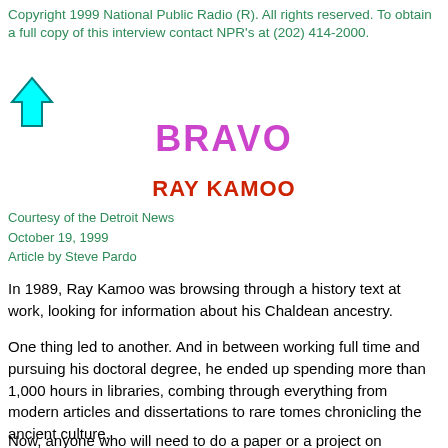Copyright 1999 National Public Radio (R).  All rights reserved.  To obtain a full copy of this interview contact NPR's at (202) 414-2000.
[Figure (illustration): Cyan/teal upward-pointing arrow icon]
BRAVO
RAY KAMOO
Courtesy of the Detroit News
October 19, 1999
Article by Steve Pardo
In 1989, Ray Kamoo was browsing through a history text at work, looking for information about his Chaldean ancestry.
One thing led to another. And in between working full time and pursuing his doctoral degree, he ended up spending more than 1,000 hours in libraries, combing through everything from modern articles and dissertations to rare tomes chronicling the ancient culture.
Now, anyone who will need to do a paper or a project on